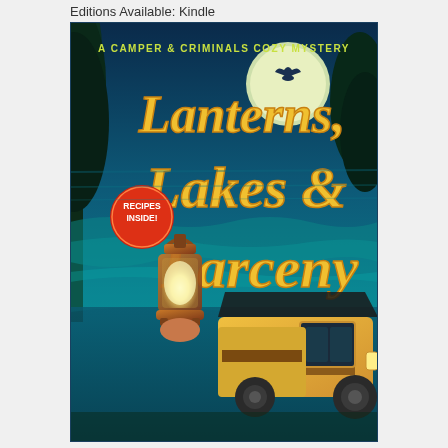Editions Available: Kindle
[Figure (illustration): Book cover for 'Lanterns, Lakes & Larceny' - A Camper & Criminals Cozy Mystery. Features a glowing lantern in the foreground, a vintage camper van/RV with an awning, a moonlit lake scene with teal and blue tones, dark trees silhouetted against a full moon, and large yellow/gold script lettering for the title. A red circular badge reads 'RECIPES INSIDE!'.]